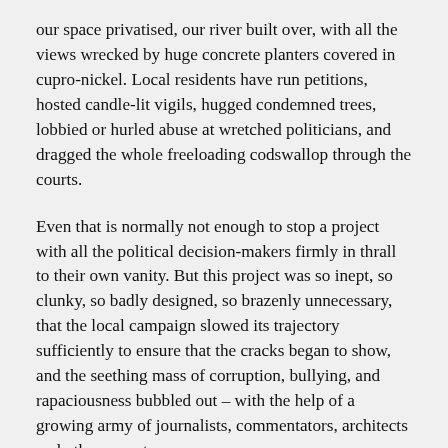our space privatised, our river built over, with all the views wrecked by huge concrete planters covered in cupro-nickel. Local residents have run petitions, hosted candle-lit vigils, hugged condemned trees, lobbied or hurled abuse at wretched politicians, and dragged the whole freeloading codswallop through the courts.
Even that is normally not enough to stop a project with all the political decision-makers firmly in thrall to their own vanity. But this project was so inept, so clunky, so badly designed, so brazenly unnecessary, that the local campaign slowed its trajectory sufficiently to ensure that the cracks began to show, and the seething mass of corruption, bullying, and rapaciousness bubbled out – with the help of a growing army of journalists, commentators, architects and other experts.